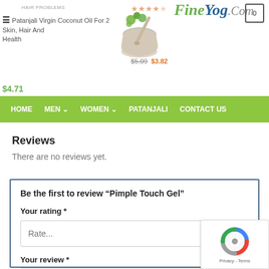FineYog.Com
HAIR PROBLEMS
Patanjali Virgin Coconut Oil For 2 Skin, Hair And Health – $4.71
$5.09  $3.82
HOME  MEN  WOMEN  PATANJALI  CONTACT US
Reviews
There are no reviews yet.
Be the first to review “Pimple Touch Gel”
Your rating *
Rate...
Your review *